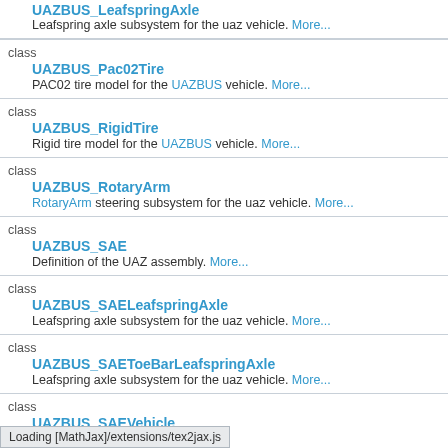UAZBUS_LeafspringAxle — Leafspring axle subsystem for the uaz vehicle. More...
class UAZBUS_Pac02Tire — PAC02 tire model for the UAZBUS vehicle. More...
class UAZBUS_RigidTire — Rigid tire model for the UAZBUS vehicle. More...
class UAZBUS_RotaryArm — RotaryArm steering subsystem for the uaz vehicle. More...
class UAZBUS_SAE — Definition of the UAZ assembly. More...
class UAZBUS_SAELeafspringAxle — Leafspring axle subsystem for the uaz vehicle. More...
class UAZBUS_SAEToeBarLeafspringAxle — Leafspring axle subsystem for the uaz vehicle. More...
class UAZBUS_SAEVehicle — UAZ vehicle system. More...
class ...
Loading [MathJax]/extensions/tex2jax.js